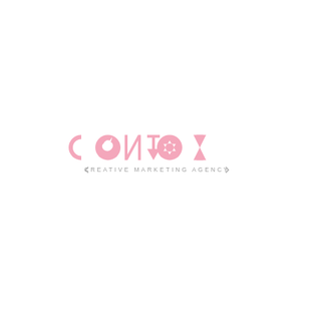[Figure (logo): CONTEX Creative Marketing Agency logo in pink. The word CONTEX is stylized: C is a partial circle, O contains a unicorn head silhouette, N is standard, T is a downward arrow/chevron, E is replaced by a camera aperture/lens icon, X is an hourglass shape. Below the main text is 'CREATIVE MARKETING AGENCY' in spaced gray letters, flanked by small bracket decorations.]